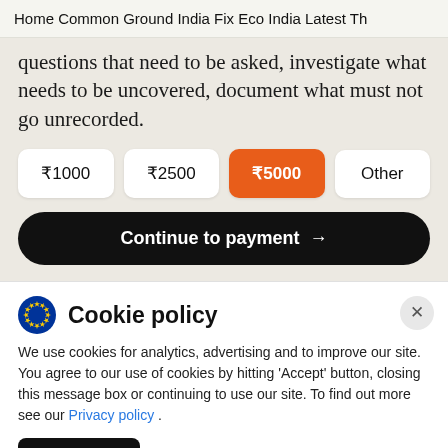Home   Common Ground   India Fix   Eco India   Latest   Th
questions that need to be asked, investigate what needs to be uncovered, document what must not go unrecorded.
₹1000   ₹2500   ₹5000   Other
Continue to payment →
Cookie policy
We use cookies for analytics, advertising and to improve our site. You agree to our use of cookies by hitting 'Accept' button, closing this message box or continuing to use our site. To find out more see our Privacy policy .
Accept